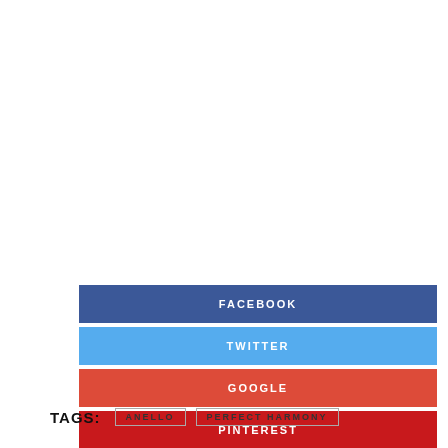[Figure (infographic): Social media share buttons: FACEBOOK (dark blue), TWITTER (light blue), GOOGLE (orange-red), PINTEREST (red)]
TAGS: ANELLO  PERFECT HARMONY